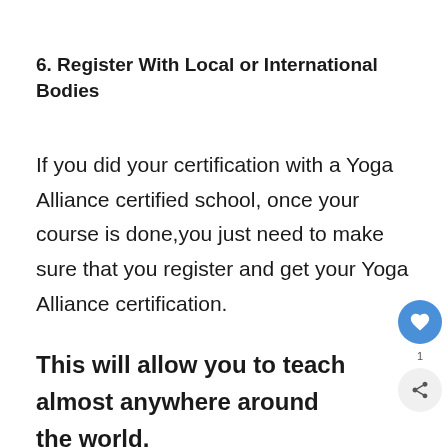6. Register With Local or International Bodies
If you did your certification with a Yoga Alliance certified school, once your course is done,you just need to make sure that you register and get your Yoga Alliance certification.
This will allow you to teach almost anywhere around the world.